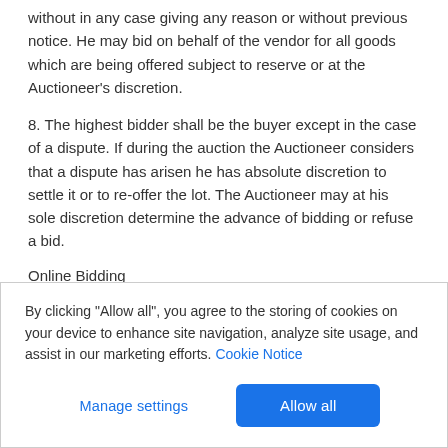without in any case giving any reason or without previous notice. He may bid on behalf of the vendor for all goods which are being offered subject to reserve or at the Auctioneer's discretion.
8. The highest bidder shall be the buyer except in the case of a dispute. If during the auction the Auctioneer considers that a dispute has arisen he has absolute discretion to settle it or to re-offer the lot. The Auctioneer may at his sole discretion determine the advance of bidding or refuse a bid.
Online Bidding
Hyperion Auctions offer an online bidding service via the-saleroom.com for bidders who cannot attend the sale.
By clicking “Allow all”, you agree to the storing of cookies on your device to enhance site navigation, analyze site usage, and assist in our marketing efforts. Cookie Notice
Manage settings
Allow all